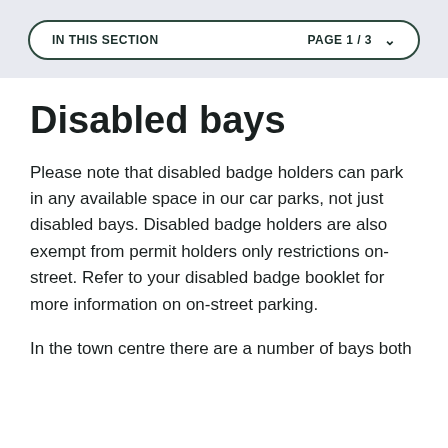IN THIS SECTION   PAGE 1 / 3
Disabled bays
Please note that disabled badge holders can park in any available space in our car parks, not just disabled bays. Disabled badge holders are also exempt from permit holders only restrictions on-street. Refer to your disabled badge booklet for more information on on-street parking.
In the town centre there are a number of bays both